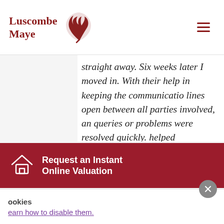Luscombe Maye
straight away. Six weeks later I moved in. With their help in keeping the communication lines open between all parties involved, and queries or problems were resolved quickly. helped enormously in speeding the whole process up. So a very big THANK YOU to everyone at Modbury Luscombe Maye.
Request an Instant Online Valuation
ookies
learn how to disable them.